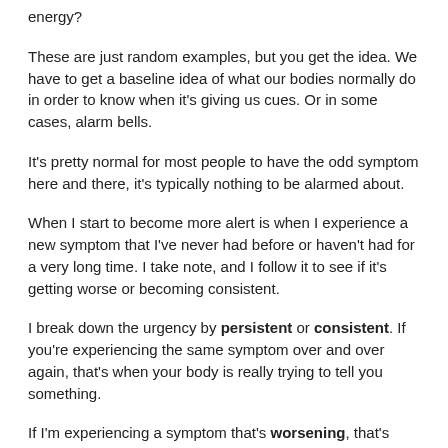energy?
These are just random examples, but you get the idea. We have to get a baseline idea of what our bodies normally do in order to know when it's giving us cues. Or in some cases, alarm bells.
It's pretty normal for most people to have the odd symptom here and there, it's typically nothing to be alarmed about.
When I start to become more alert is when I experience a new symptom that I've never had before or haven't had for a very long time. I take note, and I follow it to see if it's getting worse or becoming consistent.
I break down the urgency by persistent or consistent. If you're experiencing the same symptom over and over again, that's when your body is really trying to tell you something.
If I'm experiencing a symptom that's worsening, that's when I'm